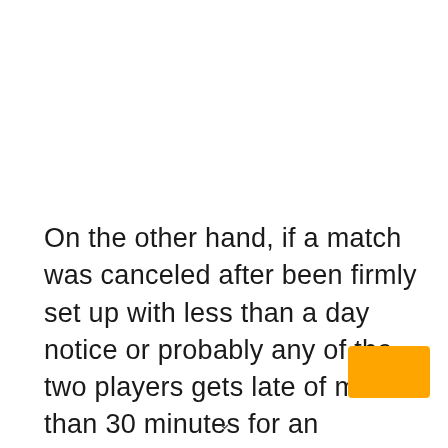On the other hand, if a match was canceled after been firmly set up with less than a day notice or probably any of the two players gets late of more than 30 minutes for an organized match without any tangible explanation, it will be claimed as a walkover victory. In this article, we are going to t…